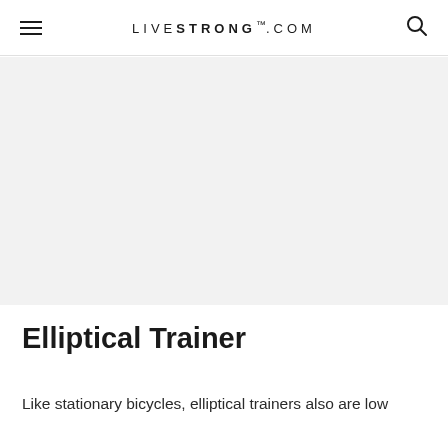LIVESTRONG.COM
[Figure (photo): Large image placeholder area with light gray background, likely showing an elliptical trainer or fitness equipment]
Elliptical Trainer
Like stationary bicycles, elliptical trainers also are low